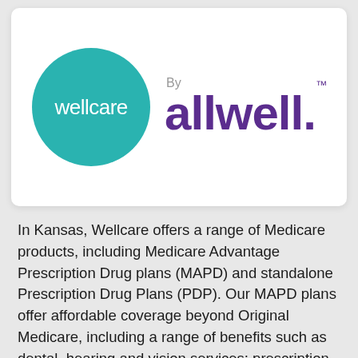[Figure (logo): Wellcare by Allwell logo. A teal circle with 'wellcare' in white text, next to 'By allwell.' in purple text.]
In Kansas, Wellcare offers a range of Medicare products, including Medicare Advantage Prescription Drug plans (MAPD) and standalone Prescription Drug Plans (PDP). Our MAPD plans offer affordable coverage beyond Original Medicare, including a range of benefits such as dental, hearing and vision services; prescription drug services; Flex Cards; transportation services; telehealth